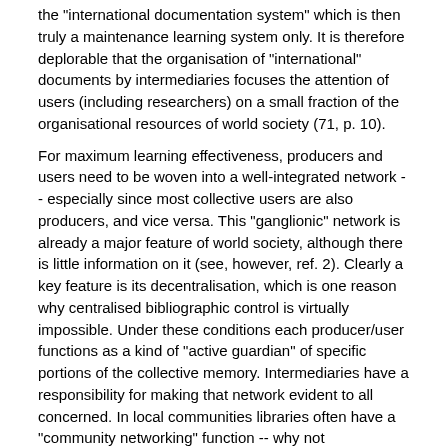the "international documentation system" which is then truly a maintenance learning system only. It is therefore deplorable that the organisation of "international" documents by intermediaries focuses the attention of users (including researchers) on a small fraction of the organisational resources of world society (71, p. 10).
For maximum learning effectiveness, producers and users need to be woven into a well-integrated network -- especially since most collective users are also producers, and vice versa. This "ganglionic" network is already a major feature of world society, although there is little information on it (see, however, ref. 2). Clearly a key feature is its decentralisation, which is one reason why centralised bibliographic control is virtually impossible. Under these conditions each producer/user functions as a kind of "active guardian" of specific portions of the collective memory. Intermediaries have a responsibility for making that network evident to all concerned. In local communities libraries often have a "community networking" function -- why not internationally?
1.3 Active memory:. The amount of information is so great that it is useful to think of the tendency to push it into "inactive" memory through the following overlapping stages:
in individual memory: current active preoccupation
in individual memory: remembered if triggered